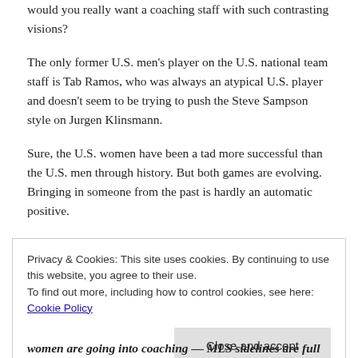would you really want a coaching staff with such contrasting visions?
The only former U.S. men's player on the U.S. national team staff is Tab Ramos, who was always an atypical U.S. player and doesn't seem to be trying to push the Steve Sampson style on Jurgen Klinsmann.
Sure, the U.S. women have been a tad more successful than the U.S. men through history. But both games are evolving. Bringing in someone from the past is hardly an automatic positive.
Privacy & Cookies: This site uses cookies. By continuing to use this website, you agree to their use.
To find out more, including how to control cookies, see here: Cookie Policy
Close and accept
women are going into coaching — MLS sidelines are full